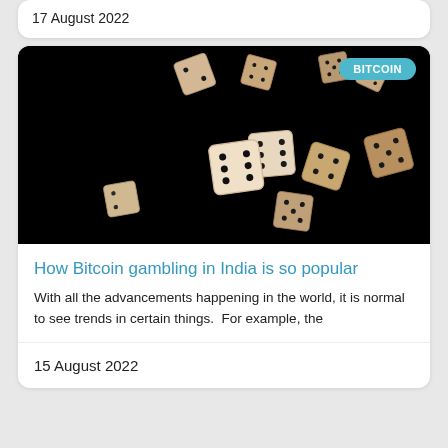17 August 2022
[Figure (photo): Multiple dice tumbling against a black background]
How Bitcoin gambling in India is so popular
With all the advancements happening in the world, it is normal to see trends in certain things.  For example, the
15 August 2022